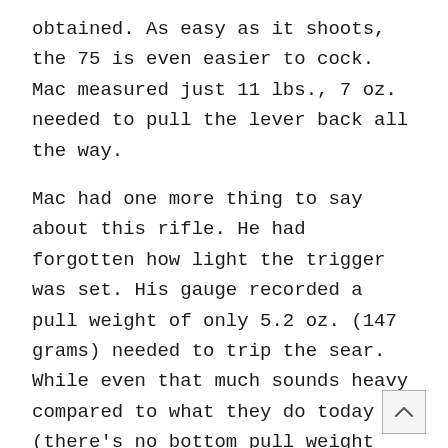obtained. As easy as it shoots, the 75 is even easier to cock. Mac measured just 11 lbs., 7 oz. needed to pull the lever back all the way.
Mac had one more thing to say about this rifle. He had forgotten how light the trigger was set. His gauge recorded a pull weight of only 5.2 oz. (147 grams) needed to trip the sear. While even that much sounds heavy compared to what they do today (there's no bottom pull weight for a 10-meter rifle, so some guns have triggers that only need 20 grams of pressure to fire), it's extremely light compared to the 3 to 5 lbs. of pull we're used to on a sporting rifle. Many shooters will set it off just getting their finger on the trigger blade, the first few times.